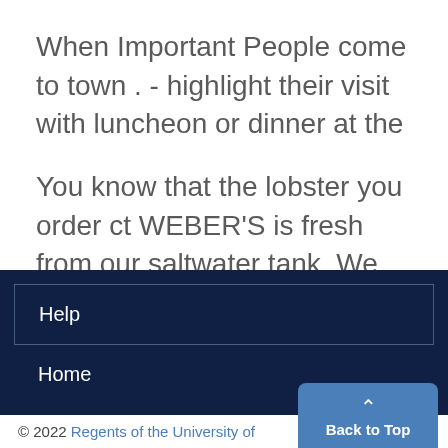When Important People come to town . - highlight their visit with luncheon or dinner at the
You know that the lobster you order ct WEBER'S is fresh from our saltwater tank. We make these special preparations to
Help
Home
© 2022 Regents of the University of